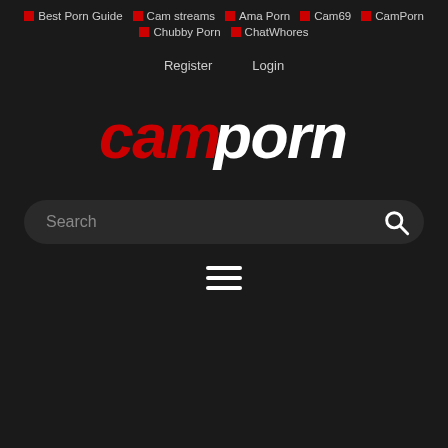■ Best Porn Guide  ■ Cam streams  ■ Ama Porn  ■ Cam69  ■ CamPorn  ■ Chubby Porn  ■ ChatWhores
Register   Login
[Figure (logo): CamPorn logo in bold italic font with 'cam' in red and 'porn' in white on dark background]
Search
[Figure (other): Hamburger menu icon with three horizontal white lines]